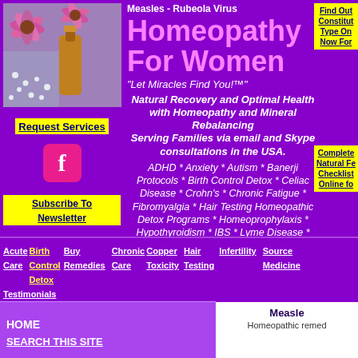[Figure (photo): Photo of homeopathic remedy bottles and white pellets with pink flowers (echinacea)]
Request Services
[Figure (logo): Facebook logo icon - pink/red background with white F]
Subscribe To Newsletter
Measles - Rubeola Virus
Homeopathy For Women
"Let Miracles Find You!™"
Natural Recovery and Optimal Health with Homeopathy and Mineral Rebalancing Serving Families via email and Skype consultations in the USA.
ADHD * Anxiety * Autism * Banerji Protocols * Birth Control Detox * Celiac Disease * Crohn's * Chronic Fatigue * Fibromyalgia * Hair Testing Homeopathic Detox Programs * Homeoprophylaxis * Hypothyroidism * IBS * Lyme Disease * PANDAS * Ulcerative Colitis * Vaccine Injury
Find Out Constitut Type On Now For
Complete Natural Fe Checklist Online fo
Acute Care
Birth Control Detox
Buy Remedies
Chronic Care
Copper Toxicity
Hair Testing
Infertility
Source Medicine
Testimonials
HOME
SEARCH THIS SITE
Measle
Homeopathic remed